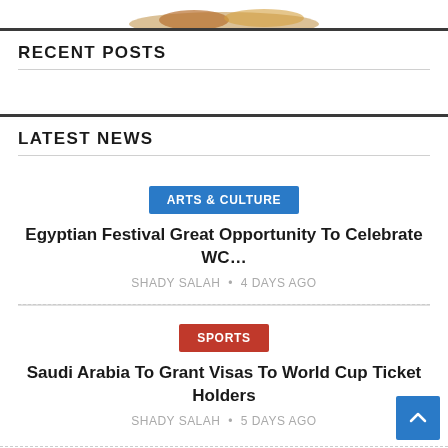[Figure (illustration): Partial image at top of page, appears to be a food or logo image cropped at the top]
RECENT POSTS
LATEST NEWS
ARTS & CULTURE
Egyptian Festival Great Opportunity To Celebrate WC…
SHADY SALAH • 4 days ago
SPORTS
Saudi Arabia To Grant Visas To World Cup Ticket Holders
SHADY SALAH • 5 days ago